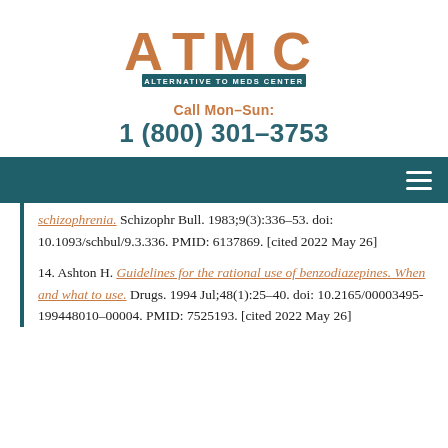[Figure (logo): ATMC - Alternative To Meds Center logo with large stylized letters A T M C in orange/brown and a dark teal banner reading ALTERNATIVE TO MEDS CENTER]
Call Mon–Sun:
1 (800) 301–3753
schizophrenia. Schizophr Bull. 1983;9(3):336–53. doi: 10.1093/schbul/9.3.336. PMID: 6137869. [cited 2022 May 26]
14. Ashton H. Guidelines for the rational use of benzodiazepines. When and what to use. Drugs. 1994 Jul;48(1):25–40. doi: 10.2165/00003495-199448010-00004. PMID: 7525193. [cited 2022 May 26]